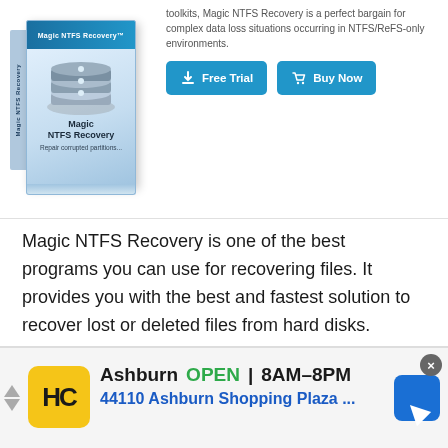[Figure (screenshot): Magic NTFS Recovery product box with stacked hard disk icon, 'Magic NTFS Recovery - Repair corrupted partitions' label, alongside small description text about toolkits and two buttons: Free Trial and Buy Now]
toolkits, Magic NTFS Recovery is a perfect bargain for complex data loss situations occurring in NTFS/ReFS-only environments.
Magic NTFS Recovery is one of the best programs you can use for recovering files. It provides you with the best and fastest solution to recover lost or deleted files from hard disks.
It is designed for users of all levels to easily recover lost files from all sorts of drives, including NTFS, FAT, ReFS, and RAW. It can fix or restore a partition, a hard disk, flash drives, and solid-state drives.
[Figure (screenshot): Advertisement bar for HC (Home Depot or similar hardware store) in Ashburn. Shows HC logo in yellow box, text 'Ashburn OPEN 8AM-8PM' and '44110 Ashburn Shopping Plaza ...' with a blue navigation arrow icon on the right. Has a close (X) button and left navigation arrows.]